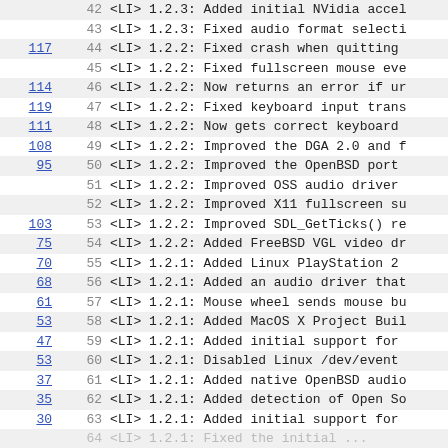| link | num | text |
| --- | --- | --- |
|  | 42 | <LI> 1.2.3: Added initial NVidia accel |
|  | 43 | <LI> 1.2.3: Fixed audio format selecti |
| 117 | 44 | <LI> 1.2.2: Fixed crash when quitting |
|  | 45 | <LI> 1.2.2: Fixed fullscreen mouse eve |
| 114 | 46 | <LI> 1.2.2: Now returns an error if ur |
| 119 | 47 | <LI> 1.2.2: Fixed keyboard input trans |
| 111 | 48 | <LI> 1.2.2: Now gets correct keyboard |
| 108 | 49 | <LI> 1.2.2: Improved the DGA 2.0 and f |
| 95 | 50 | <LI> 1.2.2: Improved the OpenBSD port |
|  | 51 | <LI> 1.2.2: Improved OSS audio driver |
|  | 52 | <LI> 1.2.2: Improved X11 fullscreen su |
| 103 | 53 | <LI> 1.2.2: Improved SDL_GetTicks() re |
| 75 | 54 | <LI> 1.2.2: Added FreeBSD VGL video dr |
| 70 | 55 | <LI> 1.2.1: Added Linux PlayStation 2 |
| 68 | 56 | <LI> 1.2.1: Added an audio driver that |
| 61 | 57 | <LI> 1.2.1: Mouse wheel sends mouse bu |
| 53 | 58 | <LI> 1.2.1: Added MacOS X Project Buil |
| 47 | 59 | <LI> 1.2.1: Added initial support for |
| 53 | 60 | <LI> 1.2.1: Disabled Linux /dev/event |
| 37 | 61 | <LI> 1.2.1: Added native OpenBSD audio |
| 35 | 62 | <LI> 1.2.1: Added detection of Open So |
| 30 | 63 | <LI> 1.2.1: Added initial support for |
|  | 64 | <LI> 1.2.1: Fixed the initial ... |